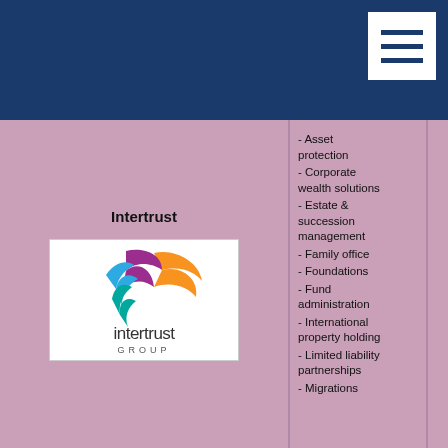[Figure (logo): Intertrust Group logo — colorful spiral/globe made of ribbon shapes in orange, purple, blue, green; text 'intertrust GROUP' below]
Intertrust
- Asset protection
- Corporate wealth solutions
- Estate & succession management
- Family office
- Foundations
- Fund administration
- International property holding
- Limited liability partnerships
- Migrations